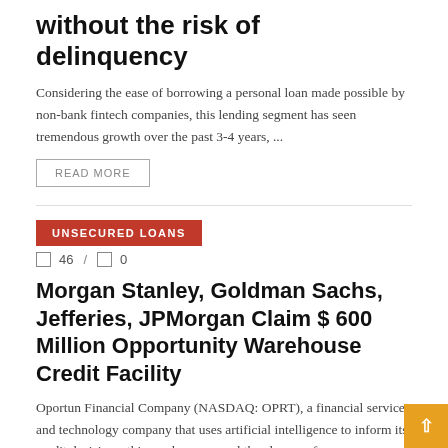without the risk of delinquency
Considering the ease of borrowing a personal loan made possible by non-bank fintech companies, this lending segment has seen tremendous growth over the past 3-4 years, ...
READ MORE
UNSECURED LOANS
46 / 0
Morgan Stanley, Goldman Sachs, Jefferies, JPMorgan Claim $ 600 Million Opportunity Warehouse Credit Facility
Oportun Financial Company (NASDAQ: OPRT), a financial services and technology company that uses artificial intelligence to inform its credit decisions, this week announced the closure of ...
READ MORE